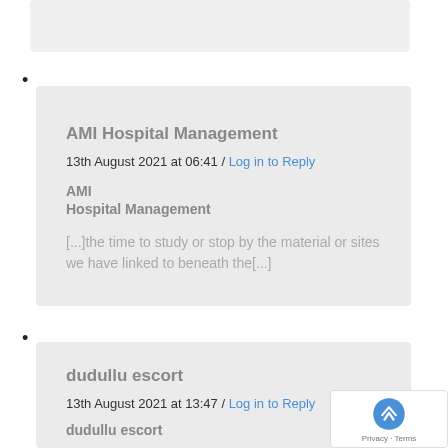•
AMI Hospital Management
13th August 2021 at 06:41 / Log in to Reply
AMI
Hospital Management
[...]the time to study or stop by the material or sites we have linked to beneath the[...]
•
dudullu escort
13th August 2021 at 13:47 / Log in to Reply
dudullu escort